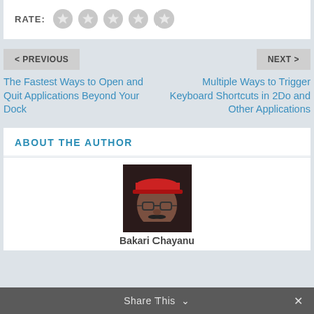[Figure (other): Star rating widget with label RATE: and 5 grey star icons]
< PREVIOUS
The Fastest Ways to Open and Quit Applications Beyond Your Dock
NEXT >
Multiple Ways to Trigger Keyboard Shortcuts in 2Do and Other Applications
ABOUT THE AUTHOR
[Figure (photo): Author photo: man wearing red cap and glasses, dark background]
Bakari Chayanu
Share This ˅  ✕